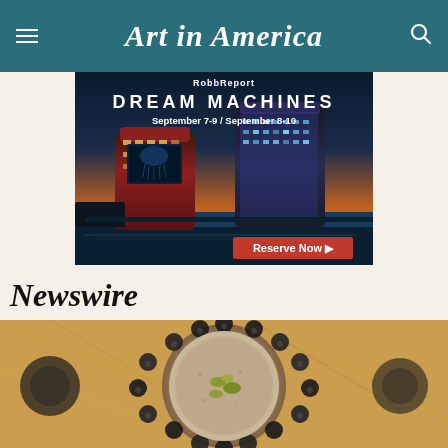Art in America
[Figure (photo): RobbReport Dream Machines advertisement showing illuminated casino buildings at night with text: RobbReport, DREAM MACHINES, September 7-9 / September 8-10, Reserve Now]
Newswire
[Figure (photo): Close-up photo of decorative beaded bracelet or jewelry item with dark beads surrounding a bowl with small objects inside, on a warm-toned background]